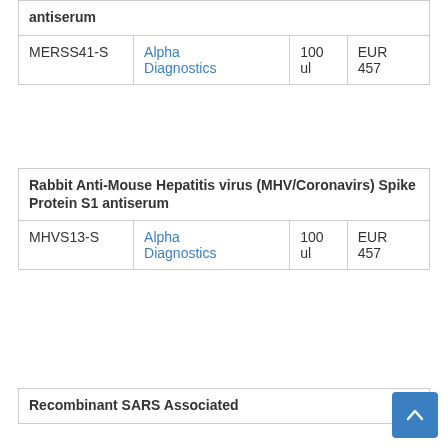|  |  |  |  |
| --- | --- | --- | --- |
| antiserum |  |  |  |
| MERSS41-S | Alpha Diagnostics | 100 ul | EUR 457 |
|  |  |  |  |
| --- | --- | --- | --- |
| Rabbit Anti-Mouse Hepatitis virus (MHV/Coronavirs) Spike Protein S1 antiserum |  |  |  |
| MHVS13-S | Alpha Diagnostics | 100 ul | EUR 457 |
|  |  |  |  |
| --- | --- | --- | --- |
| Recombinant SARS Associated |  |  |  |